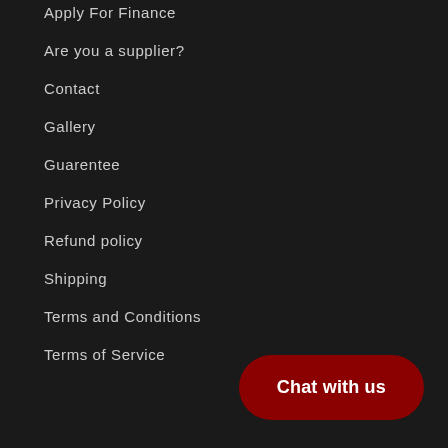Apply For Finance
Are you a supplier?
Contact
Gallery
Guarentee
Privacy Policy
Refund policy
Shipping
Terms and Conditions
Terms of Service
Chat with us